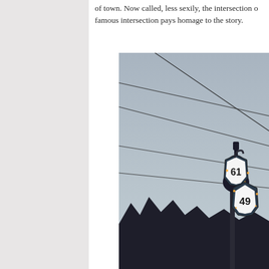of town. Now called, less sexily, the intersection of famous intersection pays homage to the story.
[Figure (photo): Photograph taken at dusk showing power lines crossing a grey sky, with road signs for US Highway 61 and US Highway 49 visible in the lower right, along with dark silhouetted tree branches at the bottom. The signs are decorated with small lights.]